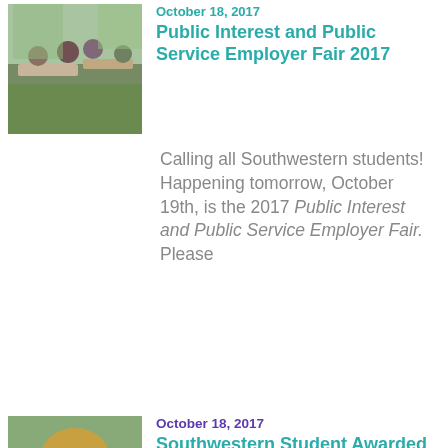[Figure (photo): Outdoor photo of students gathered around tables at an event]
October 18, 2017
Public Interest and Public Service Employer Fair 2017
Calling all Southwestern students! Happening tomorrow, October 19th, is the 2017 Public Interest and Public Service Employer Fair.  Please
[Figure (photo): Portrait photo of a young woman with blonde hair smiling]
October 18, 2017
Southwestern Student Awarded 2017 Diversity Scholarship
On October 5, 2017, Southwestern SCALE I student, Lisandra Suarez, was awarded a Diversity Scholarship by the California Bar